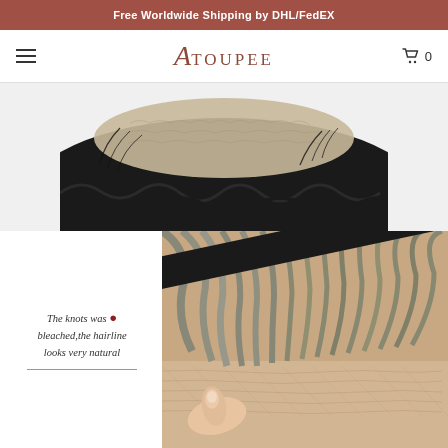Free Worldwide Shipping by DHL/FedEX
[Figure (logo): ATOUPEE brand logo with stylized A in italic serif font and shopping cart icon with 0]
[Figure (photo): Close-up photo of a hair toupee/wig showing lace base with black hair attached, viewed from above on white background]
[Figure (photo): Close-up photo of a hair toupee showing bleached knots at hairline with grey/brown hair, with text overlay: The knots was bleached, the hairline looks very natural]
The knots was bleached, the hairline looks very natural